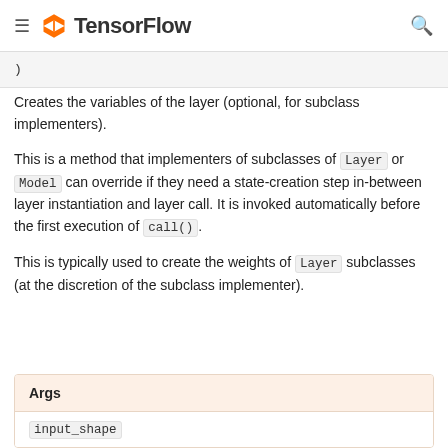≡  TensorFlow  🔍
)
Creates the variables of the layer (optional, for subclass implementers).
This is a method that implementers of subclasses of Layer or Model can override if they need a state-creation step in-between layer instantiation and layer call. It is invoked automatically before the first execution of call().
This is typically used to create the weights of Layer subclasses (at the discretion of the subclass implementer).
| Args |
| --- |
| input_shape |